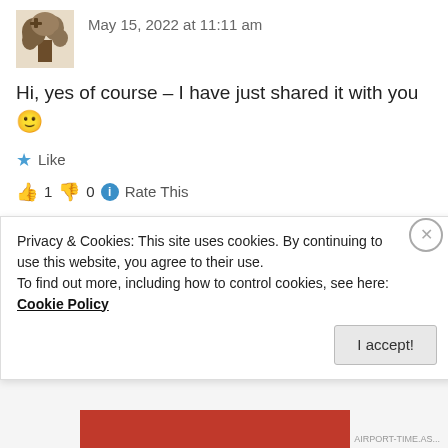[Figure (photo): User avatar showing a tree with a cross-like trunk shape, brownish tones]
May 15, 2022 at 11:11 am
Hi, yes of course – I have just shared it with you 🙂
★ Like
👍 1 👎 0 ℹ Rate This
REPLY
[Figure (illustration): Circular green avatar with leaf/mosaic pattern for user HIL]
HIL
Privacy & Cookies: This site uses cookies. By continuing to use this website, you agree to their use.
To find out more, including how to control cookies, see here: Cookie Policy
I accept!